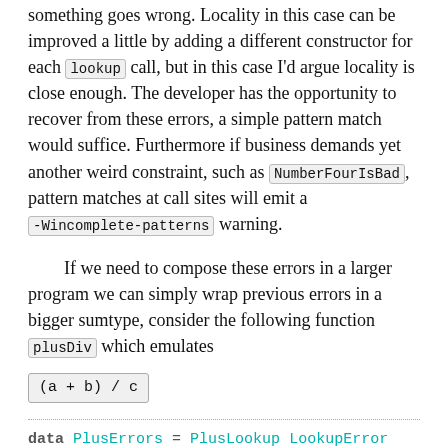something goes wrong. Locality in this case can be improved a little by adding a different constructor for each lookup call, but in this case I'd argue locality is close enough. The developer has the opportunity to recover from these errors, a simple pattern match would suffice. Furthermore if business demands yet another weird constraint, such as NumberFourIsBad, pattern matches at call sites will emit a -Wincomplete-patterns warning.
If we need to compose these errors in a larger program we can simply wrap previous errors in a bigger sumtype, consider the following function plusDiv which emulates
data PlusErrors = PlusLookup LookupError | PlusNoZeroResults | PlusNumberThreeIsBad Double